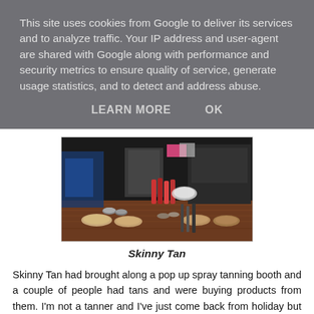This site uses cookies from Google to deliver its services and to analyze traffic. Your IP address and user-agent are shared with Google along with performance and security metrics to ensure quality of service, generate usage statistics, and to detect and address abuse.
LEARN MORE   OK
[Figure (photo): A makeup table/counter scene with various cosmetics including lipsticks, powders, compacts, and makeup brushes arranged on a wooden surface, with mirrors and store displays in the background.]
Skinny Tan
Skinny Tan had brought along a pop up spray tanning booth and a couple of people had tans and were buying products from them. I'm not a tanner and I've just come back from holiday but it was really interesting hearing about the products and treatments they offer.